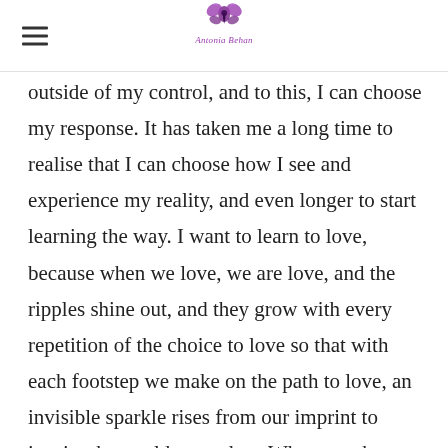Antonia Behan [logo]
outside of my control, and to this, I can choose my response. It has taken me a long time to realise that I can choose how I see and experience my reality, and even longer to start learning the way. I want to learn to love, because when we love, we are love, and the ripples shine out, and they grow with every repetition of the choice to love so that with each footstep we make on the path to love, an invisible sparkle rises from our imprint to inspire the world around us. When we choose love; to love the self, truly and authentically, the beauty is that the whole world benefits. In committing to trying to practice these two words we can change the world in a moment. Love is